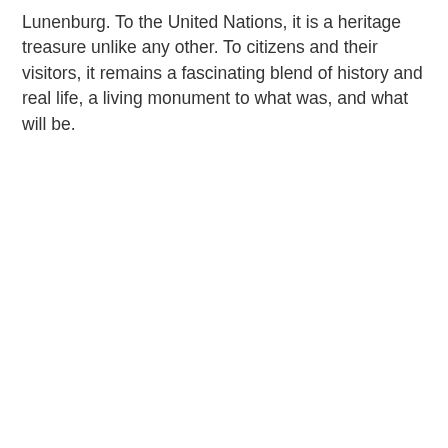Lunenburg. To the United Nations, it is a heritage treasure unlike any other. To citizens and their visitors, it remains a fascinating blend of history and real life, a living monument to what was, and what will be.